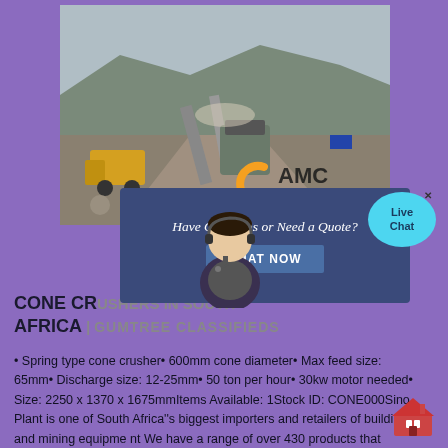[Figure (photo): Aerial/ground view of a mining/quarry site with heavy machinery, crushers, conveyors, and rocky terrain. AMC logo visible in bottom right of photo.]
[Figure (screenshot): Popup dialog overlay on a website reading 'Have Questions or Need a Quote?' with a customer service representative image, a close X button, and a blue 'CHAT NOW' button. A 'Live Chat' bubble is visible in upper right corner.]
CONE CRUSHERS IN SOUTH AFRICA | GUMTREE CLASSIFIEDS
• Spring type cone crusher• 600mm cone diameter• Max feed size: 65mm• Discharge size: 12-25mm• 50 ton per hour• 30kw motor needed• Size: 2250 x 1370 x 1675mmItems Available: 1Stock ID: CONE000Sino Plant is one of South Africa''s biggest importers and retailers of building and mining equipme nt We have a range of over 430 products that stretch from tamping …